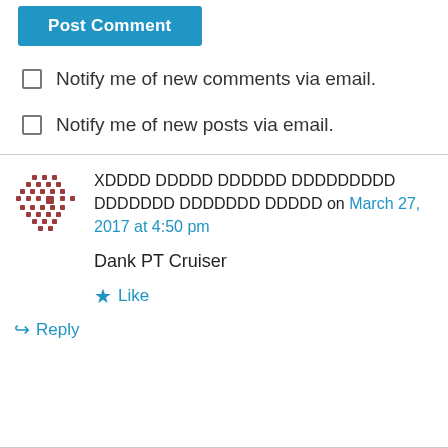Post Comment
Notify me of new comments via email.
Notify me of new posts via email.
XDDDD DDDDD DDDDDD DDDDDDDDD DDDDDDD DDDDDDD DDDDD on March 27, 2017 at 4:50 pm
Dank PT Cruiser
Like
Reply